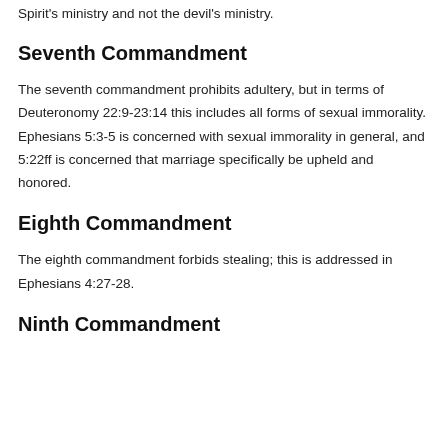Spirit's ministry and not the devil's ministry.
Seventh Commandment
The seventh commandment prohibits adultery, but in terms of Deuteronomy 22:9-23:14 this includes all forms of sexual immorality. Ephesians 5:3-5 is concerned with sexual immorality in general, and 5:22ff is concerned that marriage specifically be upheld and honored.
Eighth Commandment
The eighth commandment forbids stealing; this is addressed in Ephesians 4:27-28.
Ninth Commandment